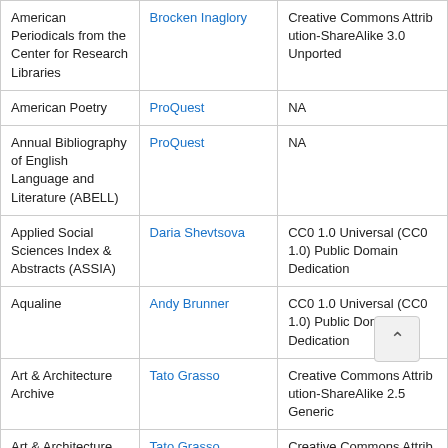| Resource | Contributor | License |
| --- | --- | --- |
| American Periodicals from the Center for Research Libraries | Brocken Inaglory | Creative Commons Attribution-ShareAlike 3.0 Unported |
| American Poetry | ProQuest | NA |
| Annual Bibliography of English Language and Literature (ABELL) | ProQuest | NA |
| Applied Social Sciences Index & Abstracts (ASSIA) | Daria Shevtsova | CC0 1.0 Universal (CC0 1.0) Public Domain Dedication |
| Aqualine | Andy Brunner | CC0 1.0 Universal (CC0 1.0) Public Domain Dedication |
| Art & Architecture Archive | Tato Grasso | Creative Commons Attribution-ShareAlike 2.5 Generic |
| Art & Architecture Archive Collection | Tato Grasso | Creative Commons Attribution-ShareAlike 2.5 Generic |